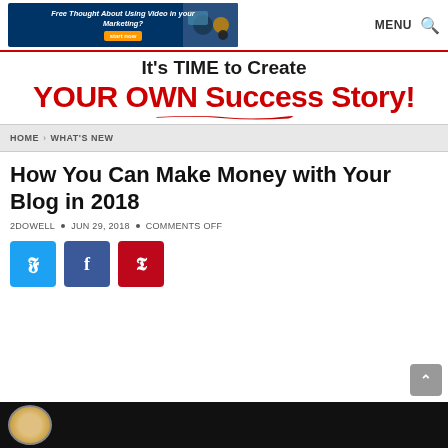[Figure (screenshot): Navigation bar with a marketing banner ad for video marketing and MENU / search icons]
[Figure (illustration): Hero banner: 'It's TIME to Create YOUR OWN Success Story!' in bold black and red text with red underline swoosh]
HOME > WHAT'S NEW
How You Can Make Money with Your Blog in 2018
2DOWELL • JUN 29, 2018 • COMMENTS OFF
[Figure (infographic): Social share buttons: Twitter (blue), Facebook (dark blue), Pinterest (red)]
[Figure (photo): Bottom video thumbnail preview bar — dark background with circular avatar]